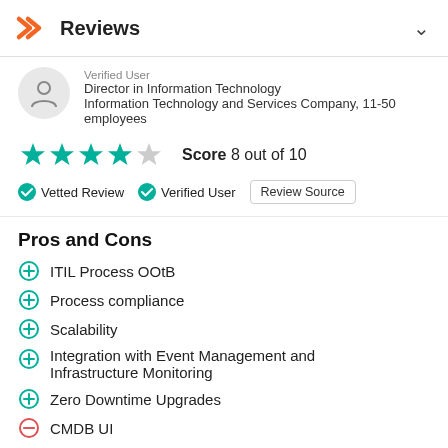Reviews
Verified User
Director in Information Technology
Information Technology and Services Company, 11-50 employees
Score 8 out of 10
Vetted Review   Verified User   Review Source
Pros and Cons
ITIL Process OOtB
Process compliance
Scalability
Integration with Event Management and Infrastructure Monitoring
Zero Downtime Upgrades
CMDB UI